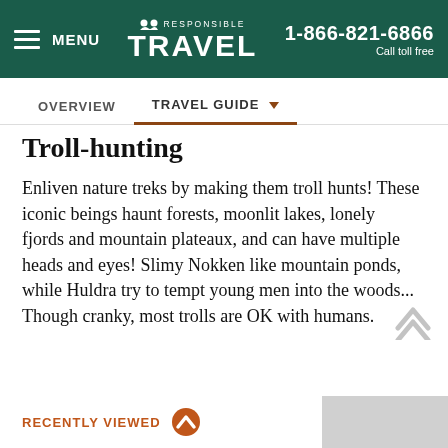≡ MENU   ⛰ RESPONSIBLE TRAVEL   1-866-821-6866 Call toll free
OVERVIEW   TRAVEL GUIDE ▼
Troll-hunting
Enliven nature treks by making them troll hunts! These iconic beings haunt forests, moonlit lakes, lonely fjords and mountain plateaux, and can have multiple heads and eyes! Slimy Nokken like mountain ponds, while Huldra try to tempt young men into the woods... Though cranky, most trolls are OK with humans.
RECENTLY VIEWED ⌃